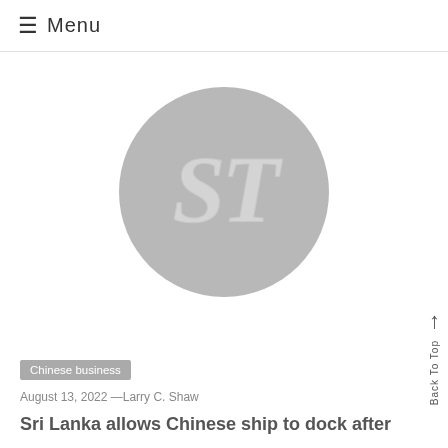≡ Menu
[Figure (logo): Newspaper logo: circular gray badge with stylized 'ST' letters in old-English script on a light gray background.]
Chinese business
August 13, 2022 —Larry C. Shaw
Sri Lanka allows Chinese ship to dock after